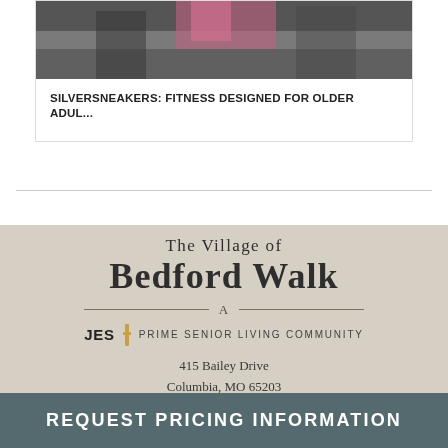[Figure (photo): Partial photo of older adults in a fitness/exercise setting, cropped at top]
SILVERSNEAKERS: FITNESS DESIGNED FOR OLDER ADUL...
[Figure (logo): The Village of Bedford Walk - A JES Prime Senior Living Community logo]
415 Bailey Drive
Columbia, MO 65203
REQUEST PRICING INFORMATION